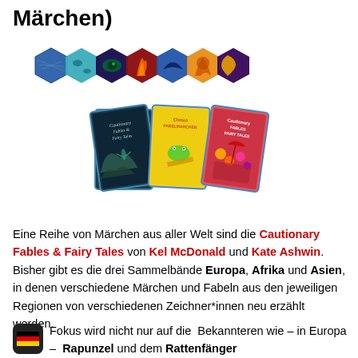Märchen)
[Figure (illustration): Row of hexagonal book cover thumbnails in various colors (blue, teal, purple, orange/red, blue/orange, orange/yellow, dark purple) above three book covers for 'Cautionary Fables & Fairy Tales' series — Europa (dark cover), Chinas Fabels/Fairy Tales (yellow cover with frog), and another volume (colorful cover with characters).]
Eine Reihe von Märchen aus aller Welt sind die Cautionary Fables & Fairy Tales von Kel McDonald und Kate Ashwin. Bisher gibt es die drei Sammelbände Europa, Afrika und Asien, in denen verschiedene Märchen und Fabeln aus den jeweiligen Regionen von verschiedenen Zeichner*innen neu erzählt werden.
Fokus wird nicht nur auf die  Bekannteren wie – in Europa –  Rapunzel und dem Rattenfänger